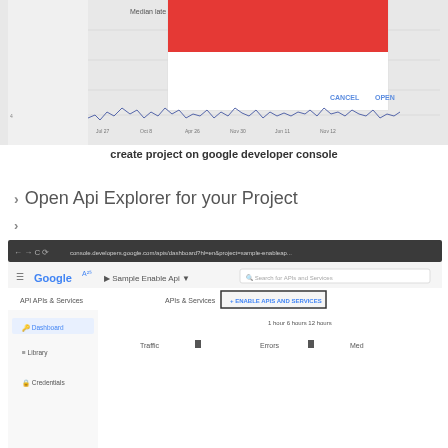[Figure (screenshot): Screenshot of Google Developer Console showing a graph with 'Median late' label and a red dialog/popup overlay with CANCEL and OPEN buttons]
create project on google developer console
> Open Api Explorer for your Project
[Figure (screenshot): Screenshot of Google APIs & Services dashboard showing browser address bar, Google logo, navigation menu with APIs & Services, and an '+ ENABLE APIS AND SERVICES' button highlighted with a box]